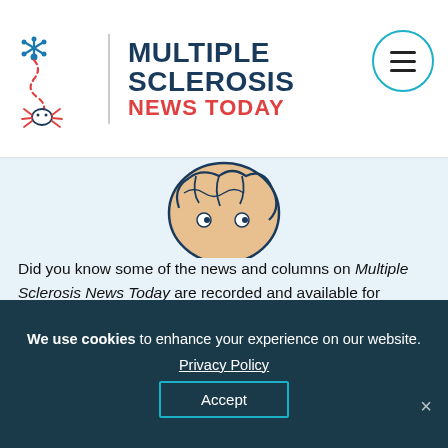[Figure (logo): Multiple Sclerosis News Today logo with illustrated nerve cell icon, vertical divider, and site name in blue and red text]
[Figure (illustration): Partial illustration of a cartoon brain/head figure at top of content area]
Did you know some of the news and columns on Multiple Sclerosis News Today are recorded and available for listening on SoundCloud? These audio news stories give our readers an alternative option for accessing information important for them.
Listen Here
We use cookies to enhance your experience on our website. Privacy Policy Accept